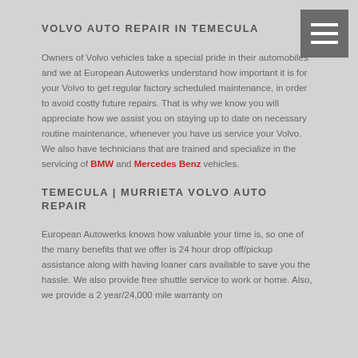VOLVO AUTO REPAIR IN TEMECULA
Owners of Volvo vehicles take a special pride in their automobiles and we at European Autowerks understand how important it is for your Volvo to get regular factory scheduled maintenance, in order to avoid costly future repairs. That is why we know you will appreciate how we assist you on staying up to date on necessary routine maintenance, whenever you have us service your Volvo. We also have technicians that are trained and specialize in the servicing of BMW and Mercedes Benz vehicles.
TEMECULA | MURRIETA VOLVO AUTO REPAIR
European Autowerks knows how valuable your time is, so one of the many benefits that we offer is 24 hour drop off/pickup assistance along with having loaner cars available to save you the hassle. We also provide free shuttle service to work or home. Also, we provide a 2 year/24,000 mile warranty on